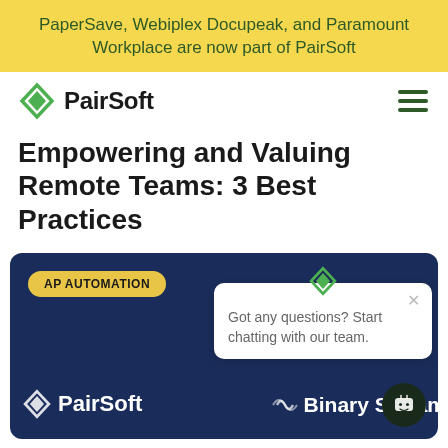PaperSave, Webiplex Docupeak, and Paramount Workplace are now part of PairSoft
[Figure (logo): PairSoft logo with green diamond and bold text 'PairSoft']
Empowering and Valuing Remote Teams: 3 Best Practices
[Figure (screenshot): Dark navy blue card with 'AP AUTOMATION' badge, PairSoft and Binary Stream logos in white, with a chat popup overlay saying 'Got any questions? Start chatting with our team.' and a chat bot button in the corner]